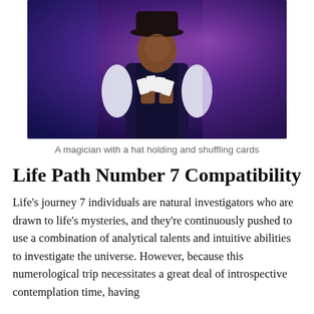[Figure (photo): A magician wearing a dark hat and vest with white sleeves, holding and shuffling playing cards, lit with blue and purple dramatic lighting against a dark background.]
A magician with a hat holding and shuffling cards
Life Path Number 7 Compatibility
Life's journey 7 individuals are natural investigators who are drawn to life's mysteries, and they're continuously pushed to use a combination of analytical talents and intuitive abilities to investigate the universe. However, because this numerological trip necessitates a great deal of introspective contemplation time, having